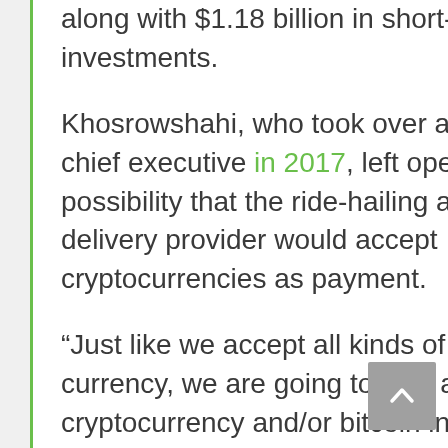along with $1.18 billion in short-term investments.
Khosrowshahi, who took over as Uber's chief executive in 2017, left open the possibility that the ride-hailing and food-delivery provider would accept cryptocurrencies as payment.
“Just like we accept all kinds of local currency, we are going to look at cryptocurrency and/or bitcoin in terms of currency to transact,” he said. “That’s good for business.